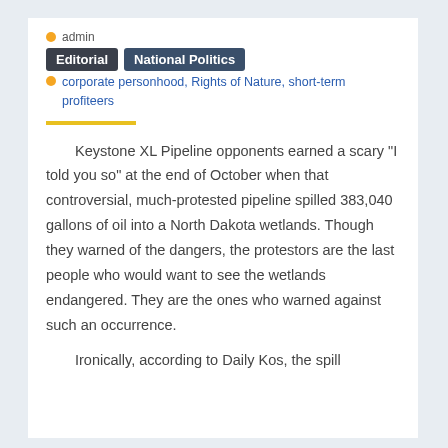admin
Editorial
National Politics
corporate personhood, Rights of Nature, short-term profiteers
Keystone XL Pipeline opponents earned a scary “I told you so” at the end of October when that  controversial, much-protested pipeline spilled 383,040 gallons of oil into a North Dakota wetlands. Though they warned of the dangers, the protestors are the last people who would want to see the wetlands endangered. They are the ones who warned against such an occurrence.
Ironically, according to Daily Kos, the spill